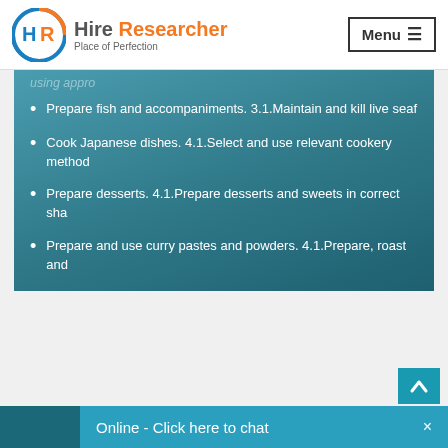[Figure (logo): Hire Researcher logo with circular HR emblem in blue and orange, text 'Hire Researcher Place of Perfection']
using appro
Prepare fish and accompaniments. 3.1.Maintain and kill live seaf
Cook Japanese dishes. 4.1.Select and use relevant cookery method
Prepare desserts. 4.1.Prepare desserts and sweets in correct sha
Prepare and use curry pastes and powders. 4.1.Prepare, roast and
Online - Click here to chat ×